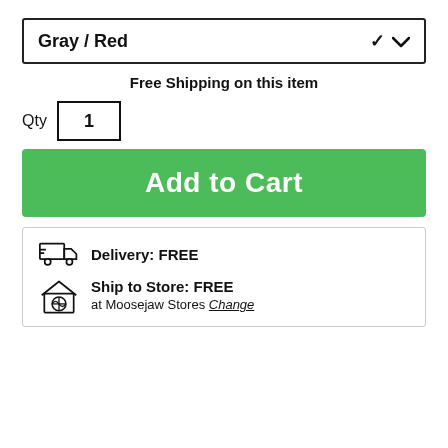Gray / Red
Free Shipping on this item
Qty  1
Add to Cart
Delivery:  FREE
Ship to Store:  FREE
at Moosejaw Stores Change